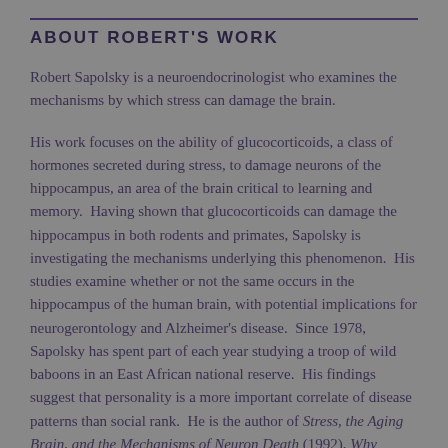ABOUT ROBERT'S WORK
Robert Sapolsky is a neuroendocrinologist who examines the mechanisms by which stress can damage the brain.
His work focuses on the ability of glucocorticoids, a class of hormones secreted during stress, to damage neurons of the hippocampus, an area of the brain critical to learning and memory.  Having shown that glucocorticoids can damage the hippocampus in both rodents and primates, Sapolsky is investigating the mechanisms underlying this phenomenon.  His studies examine whether or not the same occurs in the hippocampus of the human brain, with potential implications for neurogerontology and Alzheimer's disease.  Since 1978, Sapolsky has spent part of each year studying a troop of wild baboons in an East African national reserve.  His findings suggest that personality is a more important correlate of disease patterns than social rank.  He is the author of Stress, the Aging Brain, and the Mechanisms of Neuron Death (1992), Why Zebras Don't Get Ulcers: A Guide to Stress, Stress-Related Diseases, and Coping (3rd ed.,